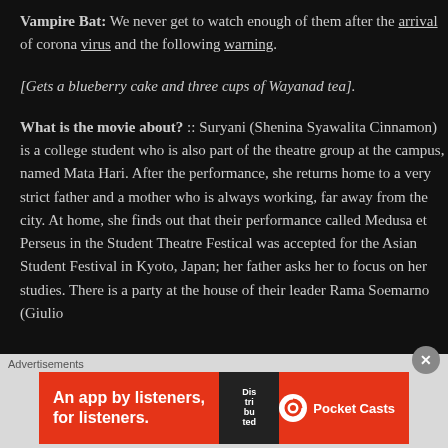Vampire Bat: We never get to watch enough of them after the arrival of corona virus and the following warning.
[Gets a blueberry cake and three cups of Wayanad tea].
What is the movie about? :: Suryani (Shenina Syawalita Cinnamon) is a college student who is also part of the theatre group at the campus, named Mata Hari. After the performance, she returns home to a very strict father and a mother who is always working, far away from the city. At home, she finds out that their performance called Medusa et Perseus in the Student Theatre Festical was accepted for the Asian Student Festival in Kyoto, Japan; her father asks her to focus on her studies. There is a party at the house of their leader Rama Soemarno (Giulio
Advertisements
[Figure (infographic): Pocket Casts advertisement banner: red background with text 'An app by listeners, for listeners.' and Pocket Casts logo and phone graphic.]